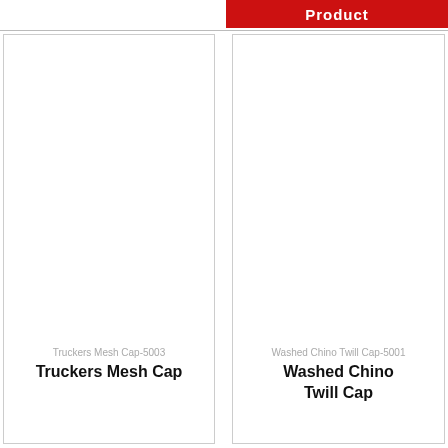Product
[Figure (photo): Product image area for Truckers Mesh Cap]
Truckers Mesh Cap-5003
Truckers Mesh Cap
[Figure (photo): Product image area for Washed Chino Twill Cap]
Washed Chino Twill Cap-5001
Washed Chino Twill Cap